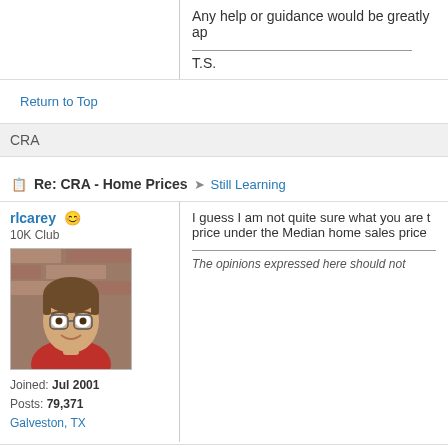Any help or guidance would be greatly ap
T.S.
Return to Top
CRA
Re: CRA - Home Prices  Still Learning
rlcarey
10K Club
[Figure (photo): Profile photo of rlcarey, a man with glasses, brown hair, wearing a red shirt, photographed against a brick background]
Joined: Jul 2001
Posts: 79,371
Galveston, TX
I guess I am not quite sure what you are t price under the Median home sales price
The opinions expressed here should not
Return to Top